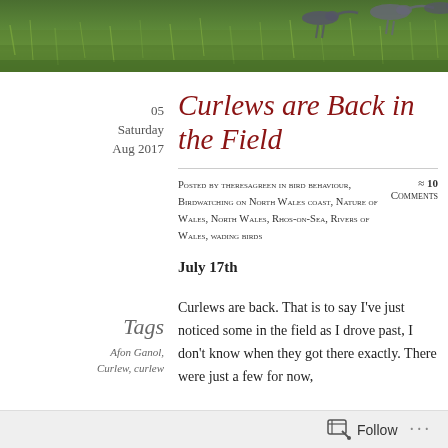[Figure (photo): Header photo of birds (curlews) on a grassy green field, partial view at top of page]
Curlews are Back in the Field
05 Saturday Aug 2017
Posted by theresagreen in bird behaviour, Birdwatching on North Wales coast, Nature of Wales, North Wales, Rhos-on-Sea, Rivers of Wales, wading birds
≈ 10 Comments
July 17th
Tags
Afon Ganol, Curlew, curlew
Curlews are back. That is to say I've just noticed some in the field as I drove past, I don't know when they got there exactly. There were just a few for now,